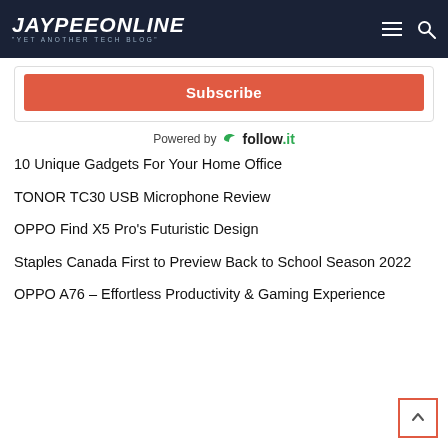JAYPEEONLINE "YET ANOTHER TECH BLOG"
[Figure (other): Subscribe button (red/coral colored button with white text)]
Powered by follow.it
10 Unique Gadgets For Your Home Office
TONOR TC30 USB Microphone Review
OPPO Find X5 Pro's Futuristic Design
Staples Canada First to Preview Back to School Season 2022
OPPO A76 – Effortless Productivity & Gaming Experience